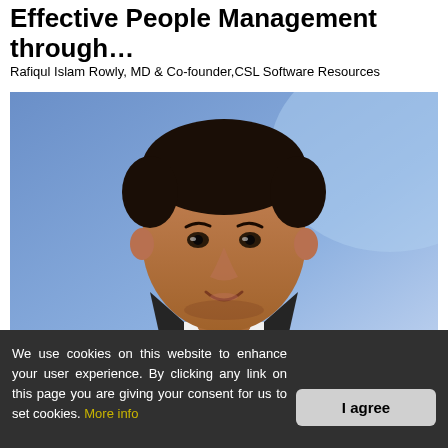Effective People Management through…
Rafiqul Islam Rowly, MD & Co-founder,CSL Software Resources
[Figure (photo): Professional headshot of Rafiqul Islam Rowly, a man in a dark suit and tie, smiling, against a blue gradient background.]
We use cookies on this website to enhance your user experience. By clicking any link on this page you are giving your consent for us to set cookies. More info